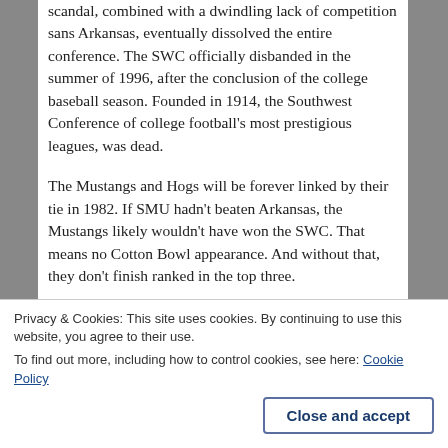scandal, combined with a dwindling lack of competition sans Arkansas, eventually dissolved the entire conference. The SWC officially disbanded in the summer of 1996, after the conclusion of the college baseball season. Founded in 1914, the Southwest Conference of college football's most prestigious leagues, was dead.
The Mustangs and Hogs will be forever linked by their tie in 1982. If SMU hadn't beaten Arkansas, the Mustangs likely wouldn't have won the SWC. That means no Cotton Bowl appearance. And without that, they don't finish ranked in the top three.
Maybe Arkansas rides that momentum and beats Texas. Then the Hogs have a shot at the Cotton Bowl.
Privacy & Cookies: This site uses cookies. By continuing to use this website, you agree to their use.
To find out more, including how to control cookies, see here: Cookie Policy